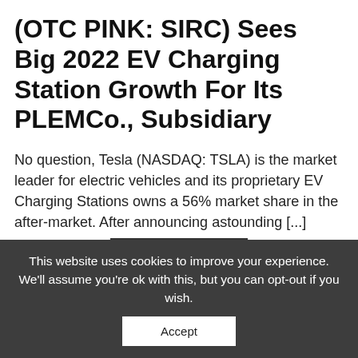(OTC PINK: SIRC) Sees Big 2022 EV Charging Station Growth For Its PLEMCo., Subsidiary
No question, Tesla (NASDAQ: TSLA) is the market leader for electric vehicles and its proprietary EV Charging Stations owns a 56% market share in the after-market. After announcing astounding [...]
READ MORE
This website uses cookies to improve your experience. We'll assume you're ok with this, but you can opt-out if you wish.
Accept